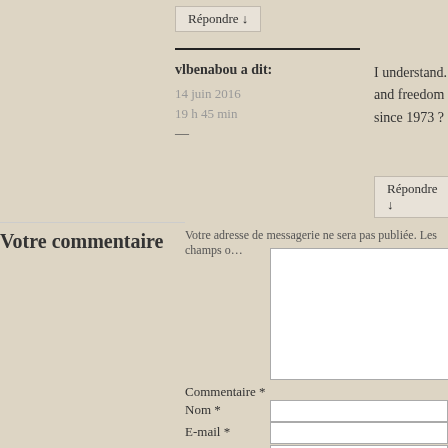Répondre ↓
vlbenabou a dit:
14 juin 2016
19 h 45 min
—
I understand. I don't pre… and freedom of move… since 1973 ?
Répondre ↓
Votre commentaire
Votre adresse de messagerie ne sera pas publiée. Les champs o…
Commentaire *
Nom *
E-mail *
Site web
Laisser un commentaire
Avertissez-moi par e-mail des nouveaux commentaires.
Avertissez-moi par e-mail des nouveaux articles.